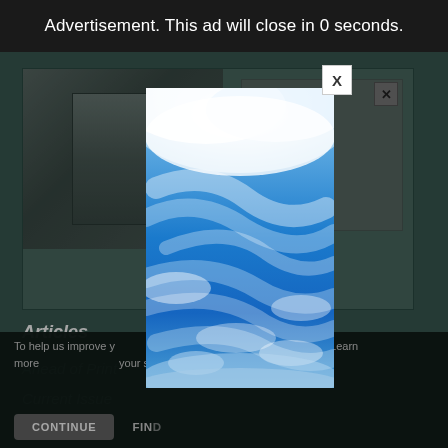Advertisement. This ad will close in 0 seconds.
[Figure (screenshot): Background showing a partially visible magazine/journal page with thumbnail images, partially obscured by a modal ad overlay.]
Articles
Ahead of Print
Current Issue
Past Issues
[Figure (photo): Modal advertisement showing a blue sky with white swirling clouds photo, with an X close button in the upper right corner.]
To help us improve your experience, this website uses cookies. Learn more and manage your settings in our Cookie Policy. You ca...
CONTINUE   FIND...